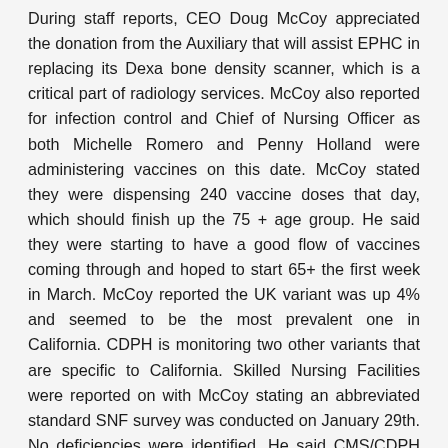During staff reports, CEO Doug McCoy appreciated the donation from the Auxiliary that will assist EPHC in replacing its Dexa bone density scanner, which is a critical part of radiology services. McCoy also reported for infection control and Chief of Nursing Officer as both Michelle Romero and Penny Holland were administering vaccines on this date. McCoy stated they were dispensing 240 vaccine doses that day, which should finish up the 75 + age group. He said they were starting to have a good flow of vaccines coming through and hoped to start 65+ the first week in March. McCoy reported the UK variant was up 4% and seemed to be the most prevalent one in California. CDPH is monitoring two other variants that are specific to California. Skilled Nursing Facilities were reported on with McCoy stating an abbreviated standard SNF survey was conducted on January 29th. No deficiencies were identified. He said CMS/CDPH continue to hold all annual surveys due to COVID restrictions. Telemed units were installed at both SNF campuses for behavioral health therapy as well as patient/visitor interaction. McCoy reported they are reestablishing visitation guidelines